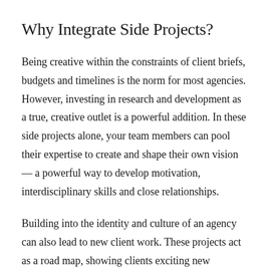Why Integrate Side Projects?
Being creative within the constraints of client briefs, budgets and timelines is the norm for most agencies. However, investing in research and development as a true, creative outlet is a powerful addition. In these side projects alone, your team members can pool their expertise to create and shape their own vision — a powerful way to develop motivation, interdisciplinary skills and close relationships.
Building into the identity and culture of an agency can also lead to new client work. These projects act as a road map, showing clients exciting new technologies and directions they'd like to explore.